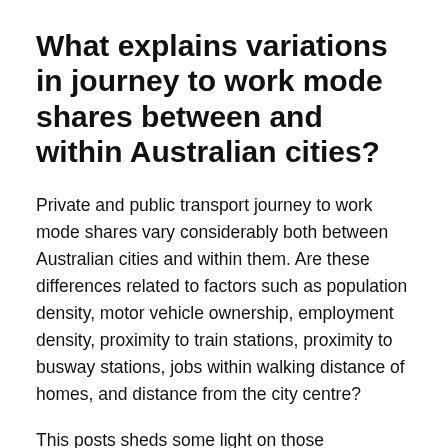What explains variations in journey to work mode shares between and within Australian cities?
Private and public transport journey to work mode shares vary considerably both between Australian cities and within them. Are these differences related to factors such as population density, motor vehicle ownership, employment density, proximity to train stations, proximity to busway stations, jobs within walking distance of homes, and distance from the city centre?
This posts sheds some light on those relationships for Australia's six largest cities. I'm afraid it isn't a short post (so get comfortable) but it's fairly comprehensive (over 30